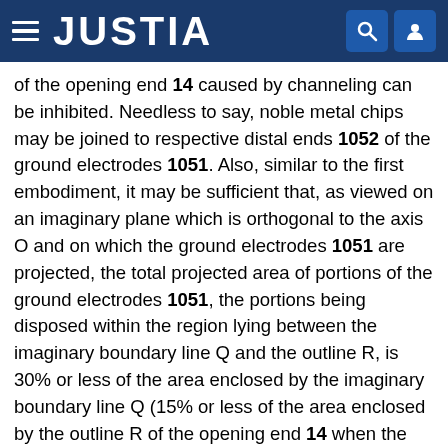JUSTIA
of the opening end 14 caused by channeling can be inhibited. Needless to say, noble metal chips may be joined to respective distal ends 1052 of the ground electrodes 1051. Also, similar to the first embodiment, it may be sufficient that, as viewed on an imaginary plane which is orthogonal to the axis O and on which the ground electrodes 1051 are projected, the total projected area of portions of the ground electrodes 1051, the portions being disposed within the region lying between the imaginary boundary line Q and the outline R, is 30% or less of the area enclosed by the imaginary boundary line Q (15% or less of the area enclosed by the outline R of the opening end 14 when the portions are disposed within the outline R).
In order to confirm the effects yielded by disposing the distal end of the ground electrode of the plasma jet